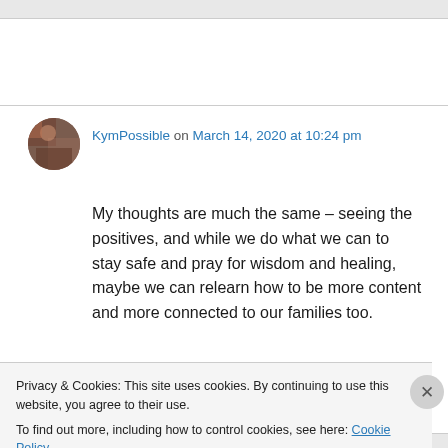KymPossible on March 14, 2020 at 10:24 pm
My thoughts are much the same – seeing the positives, and while we do what we can to stay safe and pray for wisdom and healing, maybe we can relearn how to be more content and more connected to our families too.
Privacy & Cookies: This site uses cookies. By continuing to use this website, you agree to their use.
To find out more, including how to control cookies, see here: Cookie Policy